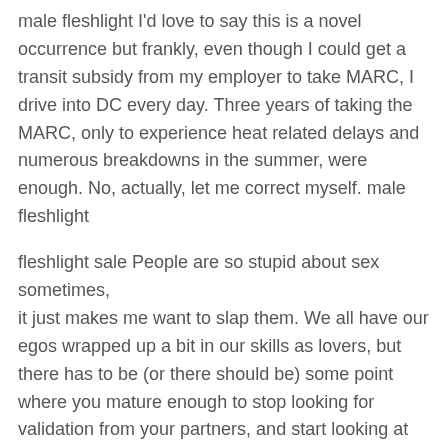male fleshlight I'd love to say this is a novel occurrence but frankly, even though I could get a transit subsidy from my employer to take MARC, I drive into DC every day. Three years of taking the MARC, only to experience heat related delays and numerous breakdowns in the summer, were enough. No, actually, let me correct myself. male fleshlight
fleshlight sale People are so stupid about sex sometimes, it just makes me want to slap them. We all have our egos wrapped up a bit in our skills as lovers, but there has to be (or there should be) some point where you mature enough to stop looking for validation from your partners, and start looking at sex as an experience with many different possibilities. Insecure lovers, selfish lovers, immature lovers and unadventurous lovers are BORING.